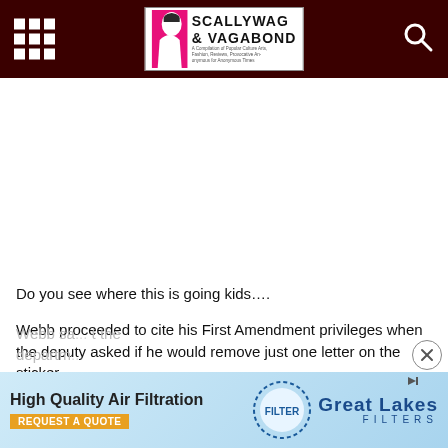Scallywag & Vagabond
Do you see where this is going kids….
Webb proceeded to cite his First Amendment privileges when the deputy asked if he would remove just one letter on the sticker.
He was charged with obscene writing on vehicles and resisting an officer without violence.
[Figure (screenshot): High Quality Air Filtration - Great Lakes Filters advertisement banner with REQUEST A QUOTE button]
Webb sa... t the departm...